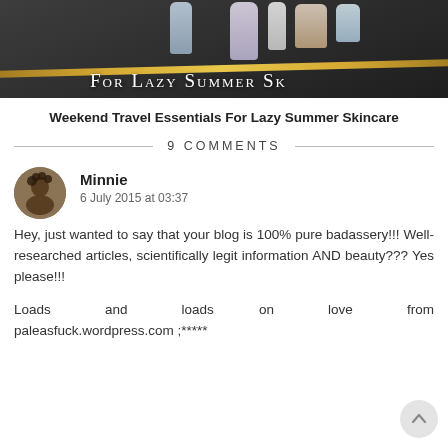[Figure (photo): Blog post header image showing skincare bottles/tubes arranged on a dark slate surface with a gold diagonal line, text overlay reads 'For Lazy Summer Sk' (truncated)]
Weekend Travel Essentials For Lazy Summer Skincare
9 COMMENTS
Minnie
6 July 2015 at 03:37

Hey, just wanted to say that your blog is 100% pure badassery!!! Well-researched articles, scientifically legit information AND beauty??? Yes please!!!

Loads and loads on love from paleasfuck.wordpress.com ;*****